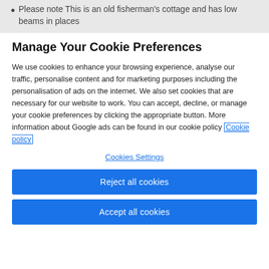Please note This is an old fisherman's cottage and has low beams in places
Manage Your Cookie Preferences
We use cookies to enhance your browsing experience, analyse our traffic, personalise content and for marketing purposes including the personalisation of ads on the internet. We also set cookies that are necessary for our website to work. You can accept, decline, or manage your cookie preferences by clicking the appropriate button. More information about Google ads can be found in our cookie policy Cookie policy
Cookies Settings
Reject all cookies
Accept all cookies